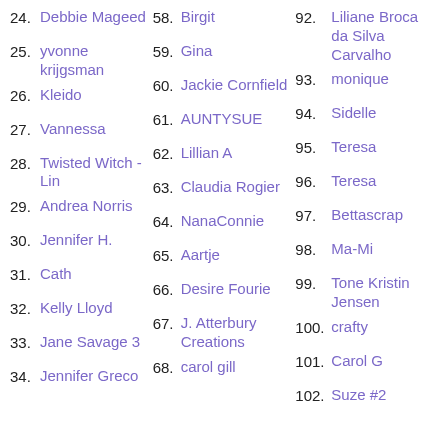24. Debbie Mageed
25. yvonne krijgsman
26. Kleido
27. Vannessa
28. Twisted Witch - Lin
29. Andrea Norris
30. Jennifer H.
31. Cath
32. Kelly Lloyd
33. Jane Savage 3
34. Jennifer Greco
58. Birgit
59. Gina
60. Jackie Cornfield
61. AUNTYSUE
62. Lillian A
63. Claudia Rogier
64. NanaConnie
65. Aartje
66. Desire Fourie
67. J. Atterbury Creations
68. carol gill
92. Liliane Broca da Silva Carvalho
93. monique
94. Sidelle
95. Teresa
96. Teresa
97. Bettascrap
98. Ma-Mi
99. Tone Kristin Jensen
100. crafty
101. Carol G
102. Suze #2